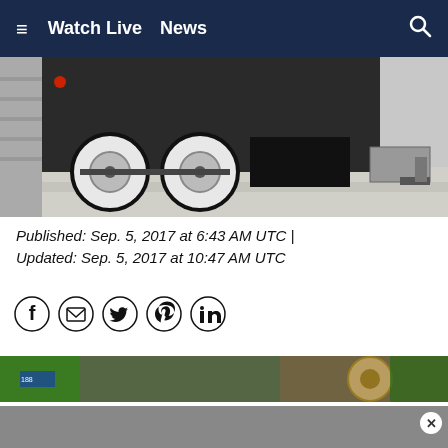≡  Watch Live  News  🔍
[Figure (photo): Bottom portion of a black trailer with white wheels on a surface, showing axles and trailer hitch hardware]
Published: Sep. 5, 2017 at 6:43 AM UTC  |  Updated: Sep. 5, 2017 at 10:47 AM UTC
[Figure (infographic): Social media sharing icons: Facebook, Email, Twitter, Pinterest, LinkedIn]
[Figure (photo): Partial photo showing green garden hose and a round gauge or wheel, brick wall in background]
[Figure (photo): Gray advertisement banner with close button]